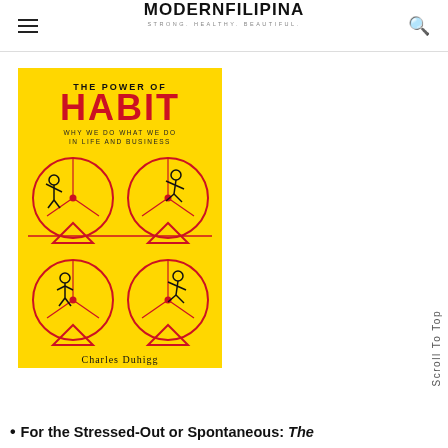MODERNFILIPINA STRONG. HEALTHY. BEAUTIFUL.
[Figure (illustration): Book cover of 'The Power of Habit: Why We Do What We Do in Life and Business' by Charles Duhigg. Yellow background with red text and illustrations of stick figures inside hamster wheels.]
For the Stressed-Out or Spontaneous: The